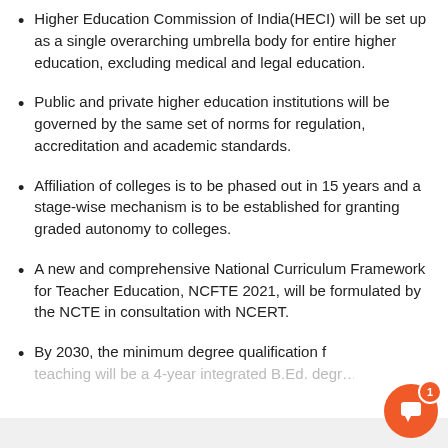Higher Education Commission of India(HECI) will be set up as a single overarching umbrella body for entire higher education, excluding medical and legal education.
Public and private higher education institutions will be governed by the same set of norms for regulation, accreditation and academic standards.
Affiliation of colleges is to be phased out in 15 years and a stage-wise mechanism is to be established for granting graded autonomy to colleges.
A new and comprehensive National Curriculum Framework for Teacher Education, NCFTE 2021, will be formulated by the NCTE in consultation with NCERT.
By 2030, the minimum degree qualification for teaching will be a 4-year integrated B.Ed. degree…